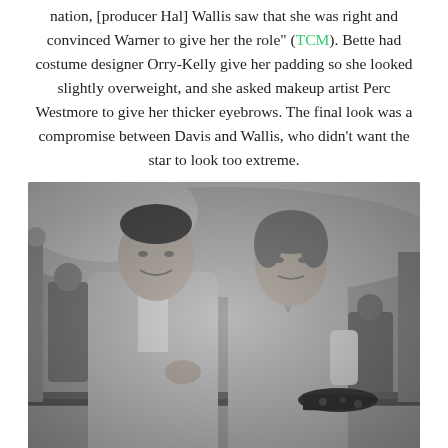nation, [producer Hal] Wallis saw that she was right and convinced Warner to give her the role" (TCM). Bette had costume designer Orry-Kelly give her padding so she looked slightly overweight, and she asked makeup artist Perc Westmore to give her thicker eyebrows. The final look was a compromise between Davis and Wallis, who didn't want the star to look too extreme.
[Figure (photo): A black-and-white photograph of a man and a woman posing together. The man on the left is smiling, wearing a short-sleeved collared shirt. The woman on the right has styled hair and is wearing a collared top. They appear to be leaning on a railing, with a large building or set structure visible in the background.]